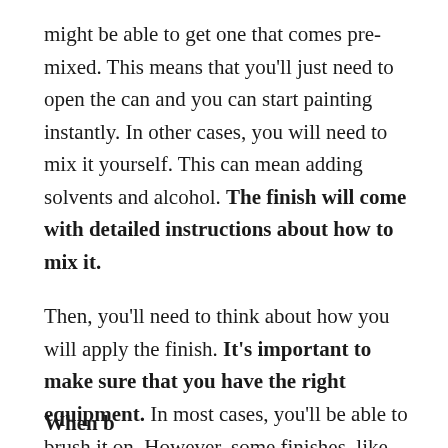might be able to get one that comes pre-mixed. This means that you'll just need to open the can and you can start painting instantly. In other cases, you will need to mix it yourself. This can mean adding solvents and alcohol. The finish will come with detailed instructions about how to mix it.
Then, you'll need to think about how you will apply the finish. It's important to make sure that you have the right equipment. In most cases, you'll be able to brush it on. However, some finishes, like lacquers, will require you to spray. If you don't have spray equipment, you'll need to hire some. This will greatly increase your budget for the project.
When ...